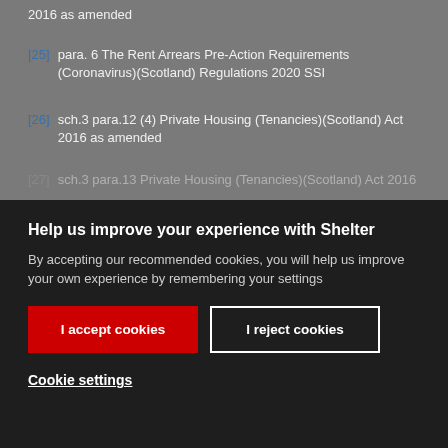2016 as amended
[25] para. 6 The Rent Arrears Pre-Action Requirements (Coronavirus)(Scotland) Regulations 2020 SSI
[26] sch.3 para.12 (4) Private Housing (Tenancies)(Scotland) Act 2016 as amended
[27] sch.3 para.13 Private Housing (Tenancies)(Scotland) Act 2016
Help us improve your experience with Shelter
By accepting our recommended cookies, you will help us improve your own experience by remembering your settings
I accept cookies
I reject cookies
Cookie settings